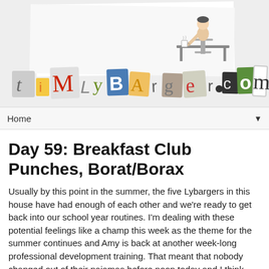[Figure (illustration): Website header banner for timlybarger.com featuring collage-style cutout letters spelling 'timlybarger.com' with a cartoon illustration of a person at a desk with a coffee cup in the upper portion]
Home
Day 59: Breakfast Club Punches, Borat/Borax
Usually by this point in the summer, the five Lybargers in this house have had enough of each other and we're ready to get back into our school year routines. I'm dealing with these potential feelings like a champ this week as the theme for the summer continues and Amy is back at another week-long professional development training. That meant that nobody changed out of their pajamas before noon today and I think tomorrow's lunch is likely to be provided by Taco Bell.